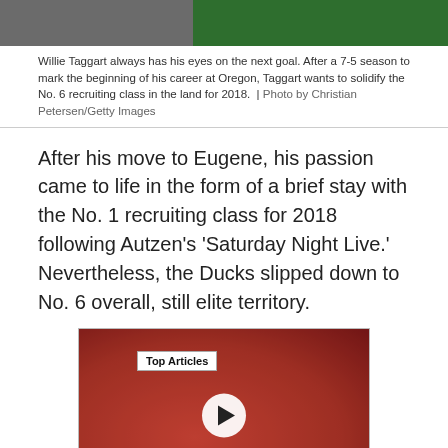[Figure (photo): Top portion of image showing Willie Taggart on a football field, split image with darker left and green right side]
Willie Taggart always has his eyes on the next goal. After a 7-5 season to mark the beginning of his career at Oregon, Taggart wants to solidify the No. 6 recruiting class in the land for 2018.  |  Photo by Christian Petersen/Getty Images
After his move to Eugene, his passion came to life in the form of a brief stay with the No. 1 recruiting class for 2018 following Autzen’s ‘Saturday Night Live.’ Nevertheless, the Ducks slipped down to No. 6 overall, still elite territory.
[Figure (screenshot): Video player thumbnail showing football players in red uniforms, with a 'Top Articles' badge, a play button in the center, a mute icon on the bottom left, and a blue arrow navigation button on the bottom right]